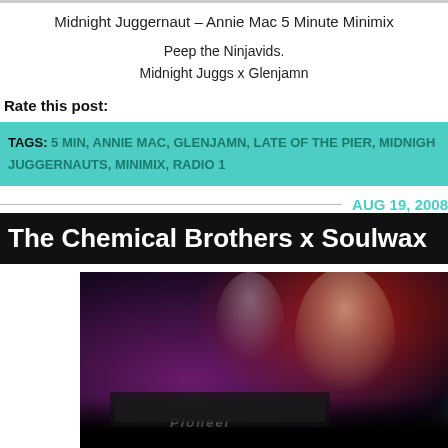Midnight Juggernaut – Annie Mac 5 Minute Minimix
Peep the Ninjavids.
Midnight Juggs x Glenjamn
Rate this post:
TAGS: 5 MIN, ANNIE MAC, GLENJAMN, LATE OF THE PIER, MIDNIGHT JUGGERNAUTS, MINIMIX, RADIO 1
AUG 19, 2008
The Chemical Brothers x Soulwax
[Figure (photo): Two men DJing at a club, one bearded in the foreground operating Pioneer DJ equipment, another in background, with colorful club lighting including red and cyan light streaks]